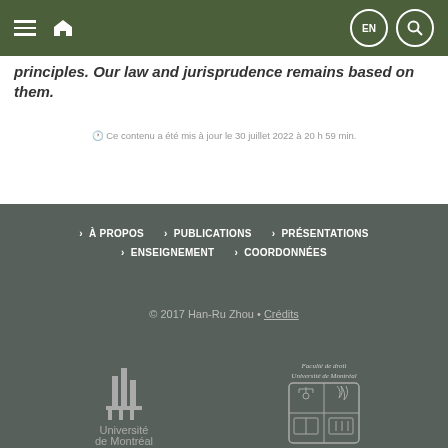EN | [search]
principles. Our law and jurisprudence remains based on them.
Ce contenu a été mis à jour le 30 juillet 2022 à 20 h 59 min.
> À PROPOS  > PUBLICATIONS  > PRÉSENTATIONS  > ENSEIGNEMENT  > COORDONNÉES
© 2017 Han-Ru Zhou • Crédits
[Figure (logo): Université de Montréal logo with stylized building icon]
[Figure (logo): Faculté de droit Université de Montréal crest/coat of arms]